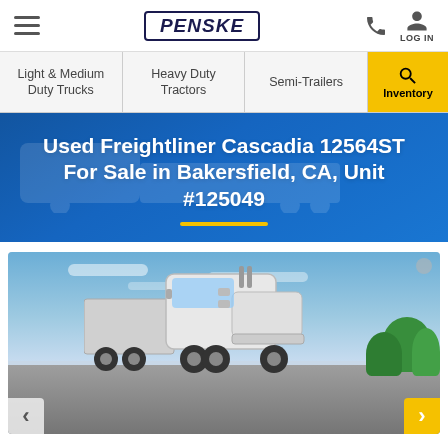PENSKE
Light & Medium Duty Trucks | Heavy Duty Tractors | Semi-Trailers | Inventory
Used Freightliner Cascadia 12564ST For Sale in Bakersfield, CA, Unit #125049
[Figure (photo): White Freightliner Cascadia semi-truck parked in a lot, front 3/4 view, blue sky with light clouds, trees visible on the right side of the image.]